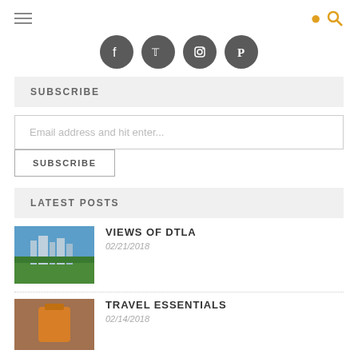Navigation bar with hamburger menu and search icon
[Figure (illustration): Four circular social media icons: Facebook, Twitter, Instagram, Pinterest — dark grey circles with white icons]
SUBSCRIBE
Email address and hit enter...
SUBSCRIBE
LATEST POSTS
[Figure (photo): City skyline photo – Views of DTLA, downtown Los Angeles with trees and bridge in foreground, blue sky]
VIEWS OF DTLA
02/21/2018
[Figure (photo): Photo of person holding orange bag in front of brick wall – Travel Essentials]
TRAVEL ESSENTIALS
02/14/2018